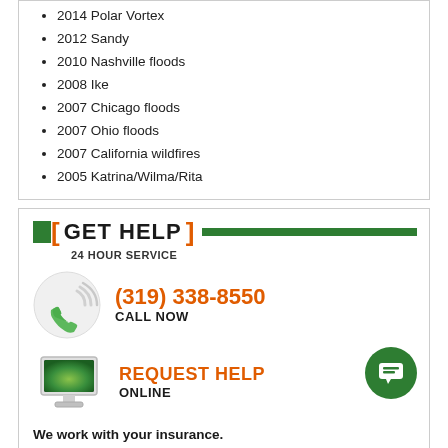2014 Polar Vortex
2012 Sandy
2010 Nashville floods
2008 Ike
2007 Chicago floods
2007 Ohio floods
2007 California wildfires
2005 Katrina/Wilma/Rita
[ GET HELP ] 24 HOUR SERVICE
(319) 338-8550 CALL NOW
REQUEST HELP ONLINE
We work with your insurance.